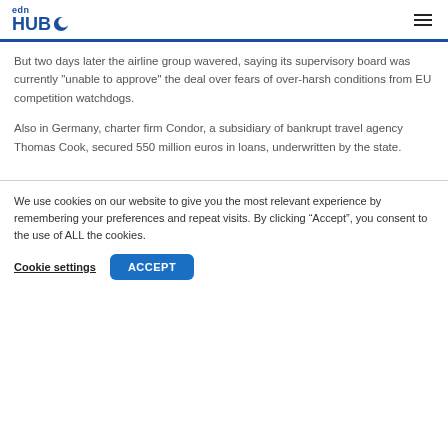edn HUB
But two days later the airline group wavered, saying its supervisory board was currently "unable to approve" the deal over fears of over-harsh conditions from EU competition watchdogs.
Also in Germany, charter firm Condor, a subsidiary of bankrupt travel agency Thomas Cook, secured 550 million euros in loans, underwritten by the state.
We use cookies on our website to give you the most relevant experience by remembering your preferences and repeat visits. By clicking “Accept”, you consent to the use of ALL the cookies.
Cookie settings   ACCEPT